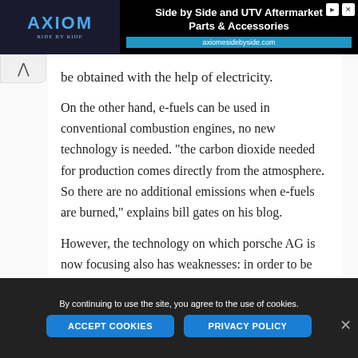[Figure (screenshot): Axiom Side by Side and UTV Aftermarket Parts & Accessories advertisement banner with logo and URL axiomesidebyside.com]
be obtained with the help of electricity.
On the other hand, e-fuels can be used in conventional combustion engines, no new technology is needed. "the carbon dioxide needed for production comes directly from the atmosphere. So there are no additional emissions when e-fuels are burned," explains bill gates on his blog.
However, the technology on which porsche AG is now focusing also has weaknesses: in order to be
By continuing to use the site, you agree to the use of cookies.
ACCEPT COOKIES
PRIVACY POLICY